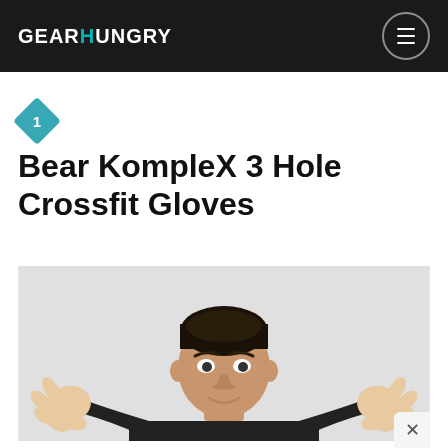GEARHUNGRY
Bear KompleX 3 Hole Crossfit Gloves
[Figure (photo): A man holding up both hands showing crossfit gloves against a light gray background, visible from the chest up]